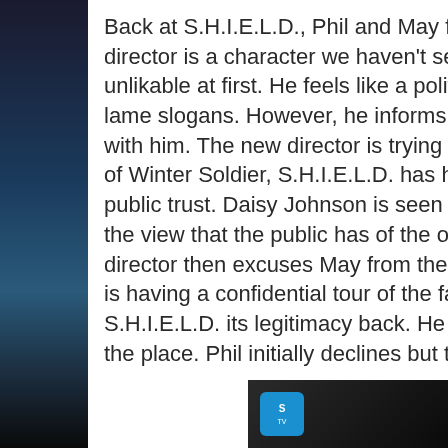Back at S.H.I.E.L.D., Phil and May fina... director is a character we haven't seen... unlikable at first. He feels like a politic... lame slogans. However, he informs th... with him. The new director is trying to... of Winter Soldier, S.H.I.E.L.D. has ha... public trust. Daisy Johnson is seen as... the view that the public has of the org... director then excuses May from the ro... is having a confidential tour of the faci... S.H.I.E.L.D. its legitimacy back. He wa... the place. Phil initially declines but the...
[Figure (photo): Dark photo thumbnail with STV logo in bottom-right corner of the page]